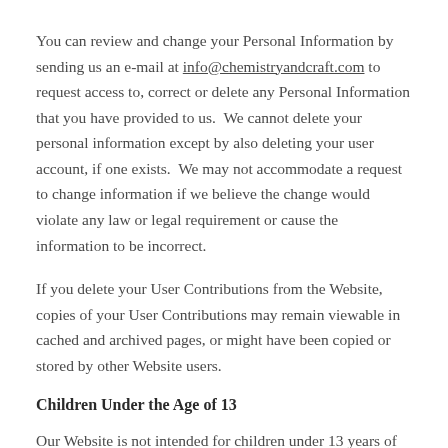You can review and change your Personal Information by sending us an e-mail at info@chemistryandcraft.com to request access to, correct or delete any Personal Information that you have provided to us.  We cannot delete your personal information except by also deleting your user account, if one exists.  We may not accommodate a request to change information if we believe the change would violate any law or legal requirement or cause the information to be incorrect.
If you delete your User Contributions from the Website, copies of your User Contributions may remain viewable in cached and archived pages, or might have been copied or stored by other Website users.
Children Under the Age of 13
Our Website is not intended for children under 13 years of age, and no one under age 13 may provide any information on our Website. We do not knowingly collect